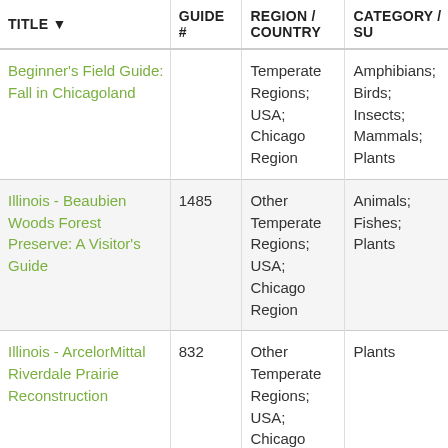| TITLE | GUIDE # | REGION / COUNTRY | CATEGORY / SU |
| --- | --- | --- | --- |
| Beginner's Field Guide: Fall in Chicagoland |  | Temperate Regions; USA; Chicago Region | Amphibians; Birds; Insects; Mammals; Plants |
| Illinois - Beaubien Woods Forest Preserve: A Visitor's Guide | 1485 | Other Temperate Regions; USA; Chicago Region | Animals; Fishes; Plants |
| Illinois - ArcelorMittal Riverdale Prairie Reconstruction | 832 | Other Temperate Regions; USA; Chicago Region | Plants |